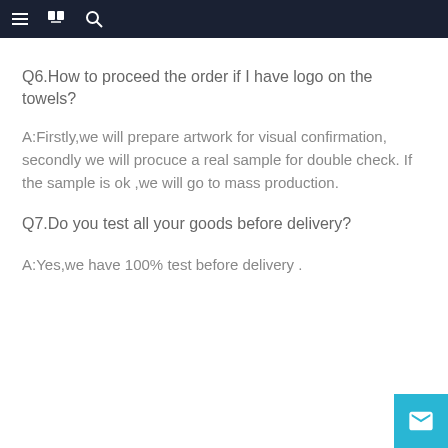≡ 📖 🔍
Q6.How to proceed the order if I have logo on the towels?
A:Firstly,we will prepare artwork for visual confirmation, secondly we will procuce a real sample for double check. If the sample is ok ,we will go to mass production.
Q7.Do you test all your goods before delivery?
A:Yes,we have 100% test before delivery .